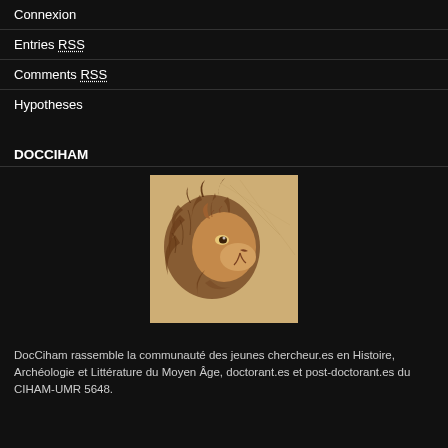Connexion
Entries RSS
Comments RSS
Hypotheses
DOCCIHAM
[Figure (illustration): Medieval ink drawing of a lion's head in profile, with flowing mane, rendered in sepia/brown tones on aged parchment background]
DocCiham rassemble la communauté des jeunes chercheur.es en Histoire, Archéologie et Littérature du Moyen Âge, doctorant.es et post-doctorant.es du CIHAM-UMR 5648.